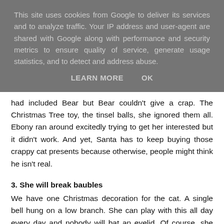This site uses cookies from Google to deliver its services and to analyze traffic. Your IP address and user-agent are shared with Google along with performance and security metrics to ensure quality of service, generate usage statistics, and to detect and address abuse.
LEARN MORE    OK
had included Bear but Bear couldn't give a crap. The Christmas Tree toy, the tinsel balls, she ignored them all. Ebony ran around excitedly trying to get her interested but it didn't work. And yet, Santa has to keep buying those crappy cat presents because otherwise, people might think he isn't real.
3. She will break baubles
We have one Christmas decoration for the cat. A single bell hung on a low branch. She can play with this all day every day and nobody will bat an eyelid. Of course, she doesn't. She totally ignores it. Instead, she attacks all the other baubles. Especially the breakable ones, they're her favourite. As I type this, I can see five Christmas tree decorations on the floor.